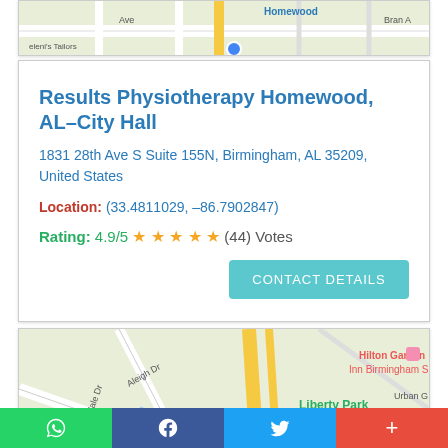[Figure (map): Partial street map showing top portion of Homewood area]
Results Physiotherapy Homewood, AL–City Hall
1831 28th Ave S Suite 155N, Birmingham, AL 35209, United States
Location: (33.4811029, –86.7902847)
Rating: 4.9/5 ★★★★★ (44) Votes
[Figure (map): Street map showing Liberty Park area near Birmingham with Hilton Garden Inn and Piggly Wiggly River Run visible]
WhatsApp | Facebook | Twitter | +